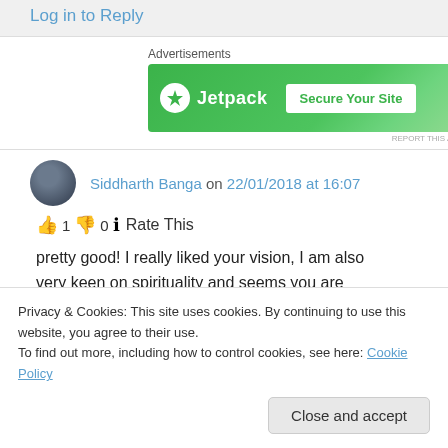Log in to Reply
Advertisements
[Figure (screenshot): Jetpack advertisement banner with green background, Jetpack logo and 'Secure Your Site' button]
REPORT THIS AD
Siddharth Banga on 22/01/2018 at 16:07
👍 1 👎 0 ℹ Rate This
pretty good! I really liked your vision, I am also very keen on spirituality and seems you are doing so th...
Privacy & Cookies: This site uses cookies. By continuing to use this website, you agree to their use.
To find out more, including how to control cookies, see here: Cookie Policy
Close and accept